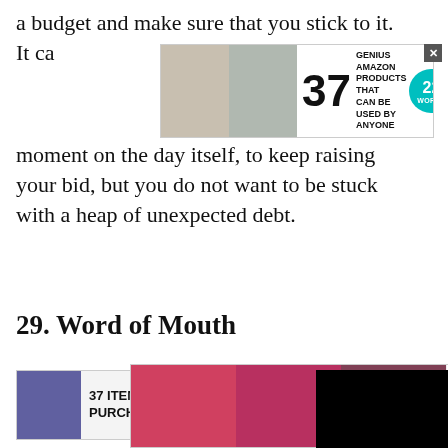a budget and make sure that you stick to it. It ca... moment on the day itself, to keep raising your bid, but you do not want to be stuck with a heap of unexpected debt.
[Figure (infographic): Top banner advertisement: '37 GENIUS AMAZON PRODUCTS THAT CAN BE USED BY ANYONE' with product images and 22 Words badge logo]
29. Word of Mouth
[Figure (infographic): Middle advertisement: '37 ITEMS PEOPLE PURCHASE O...' with blue spray bottle product images, partially obscured by black video overlay]
In rural communities, it... common for land to be s... meaning that they do n... up on the market available for viewings. This is another great way to find some land at a great price, but you will need to build up rela... o be the... up
[Figure (infographic): Bottom banner advertisement: Ulta Beauty makeup advertisement with SHOP NOW call to action]